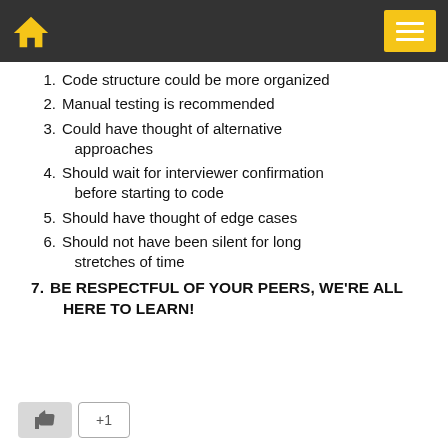Navigation header with home icon and menu button
1. Code structure could be more organized
2. Manual testing is recommended
3. Could have thought of alternative approaches
4. Should wait for interviewer confirmation before starting to code
5. Should have thought of edge cases
6. Should not have been silent for long stretches of time
7. BE RESPECTFUL OF YOUR PEERS, WE'RE ALL HERE TO LEARN!